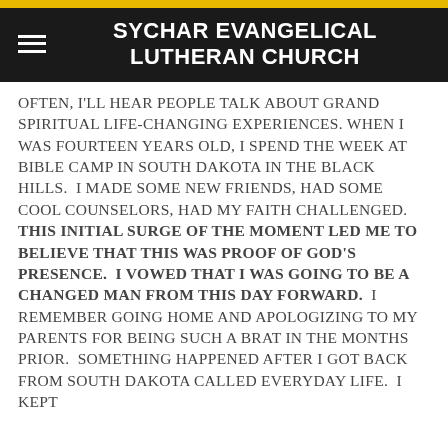SYCHAR EVANGELICAL LUTHERAN CHURCH
OFTEN, I'LL HEAR PEOPLE TALK ABOUT GRAND SPIRITUAL LIFE-CHANGING EXPERIENCES. WHEN I WAS FOURTEEN YEARS OLD, I SPEND THE WEEK AT BIBLE CAMP IN SOUTH DAKOTA IN THE BLACK HILLS. I MADE SOME NEW FRIENDS, HAD SOME COOL COUNSELORS, HAD MY FAITH CHALLENGED. THIS INITIAL SURGE OF THE MOMENT LED ME TO BELIEVE THAT THIS WAS PROOF OF GOD'S PRESENCE. I VOWED THAT I WAS GOING TO BE A CHANGED MAN FROM THIS DAY FORWARD. I REMEMBER GOING HOME AND APOLOGIZING TO MY PARENTS FOR BEING SUCH A BRAT IN THE MONTHS PRIOR. SOMETHING HAPPENED AFTER I GOT BACK FROM SOUTH DAKOTA CALLED EVERYDAY LIFE. I KEPT